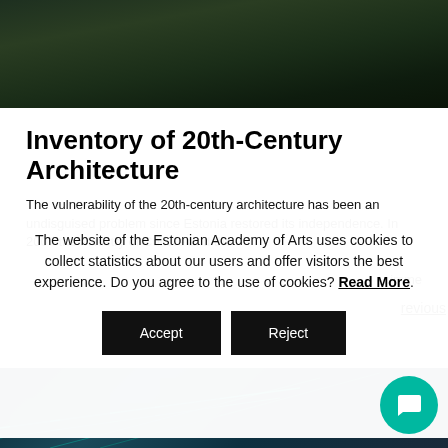[Figure (photo): Aerial or close-up photo of dark green grass or foliage, dark tones]
Inventory of 20th-Century Architecture
The vulnerability of the 20th-century architecture has been an undisguised problem since Estonia restored its independence. In 2007 the Ministry of Culture and the
imme
The website of the Estonian Academy of Arts uses cookies to collect statistics about our users and offer visitors the best experience. Do you agree to the use of cookies? Read More.
revious
[Figure (photo): Aerial map view with teal/cyan grid lines overlay, partial view at bottom of page, with teal chat bubble icon in lower right]